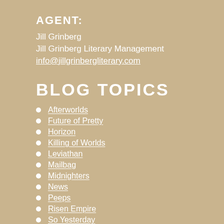AGENT:
Jill Grinberg
Jill Grinberg Literary Management
info@jillgrinbergliterary.com
BLOG TOPICS
Afterworlds
Future of Pretty
Horizon
Killing of Worlds
Leviathan
Mailbag
Midnighters
News
Peeps
Risen Empire
So Yesterday
Spill Zone